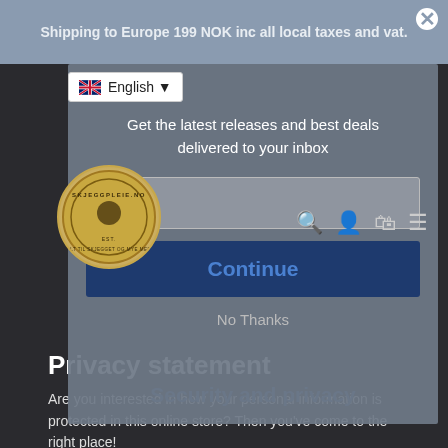Shipping to Europe 199 NOK inc all local taxes and vat.
English
Get the latest releases and best deals delivered to your inbox
Email
Continue
Security and privacy
No Thanks
Privacy statement
Are you interested in how your personal information is protected in this online store? Then you've come to the right place!